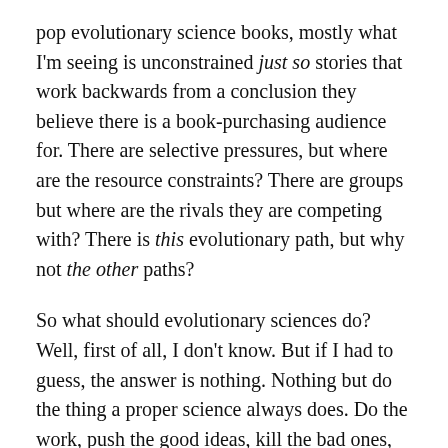pop evolutionary science books, mostly what I'm seeing is unconstrained just so stories that work backwards from a conclusion they believe there is a book-purchasing audience for. There are selective pressures, but where are the resource constraints? There are groups but where are the rivals they are competing with? There is this evolutionary path, but why not the other paths?
So what should evolutionary sciences do? Well, first of all, I don't know. But if I had to guess, the answer is nothing. Nothing but do the thing a proper science always does. Do the work, push the good ideas, kill the bad ones, and trust that the custodians of the scientific method will do their jobs. And so will the editors. And the hiring committees. And the critics. Sure, a couple folks will pay a couple years mortgage, but a bit of financial and status injustice are a small price to pay while we keep the